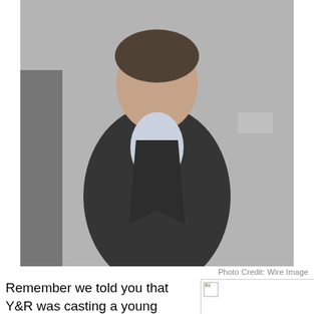[Figure (photo): A young man wearing a black zip-up jacket over a light blue shirt, photographed at an event. Partial view of another person visible on the left.]
Photo Credit: Wire Image
Remember we told you that Y&R was casting a young college aged male who returns home with a serious ax to grind? Well, mystery solved and he was who we thought it would be, and so did most of our soapers!
[Figure (photo): Small broken image placeholder thumbnail]
The Hollywood Reporter announced exclusively today
Photo Credit: Wire Image